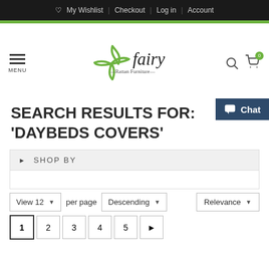My Wishlist | Checkout | Log in | Account
[Figure (logo): Fairy Rattan Furniture logo with green leaf design and italic 'fairy' text]
SEARCH RESULTS FOR: 'DAYBEDS COVERS'
SHOP BY
View 12 per page   Descending   Relevance
1  2  3  4  5  ▶